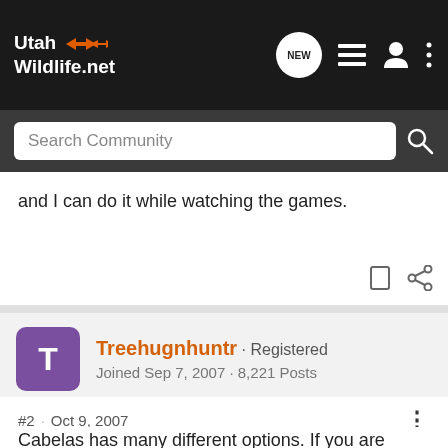Utah Wildlife.net
and I can do it while watching the games.
Treehugnhuntr · Registered
Joined Sep 7, 2007 · 8,221 Posts
#2 · Oct 9, 2007
Cabelas has many different options. If you are going to process a lot of animals every year, you'll want quality. We've gone through 4 sealers in the last 5 years. We finally bought one of the commercial ones from Cabelas, it seems to be holding up